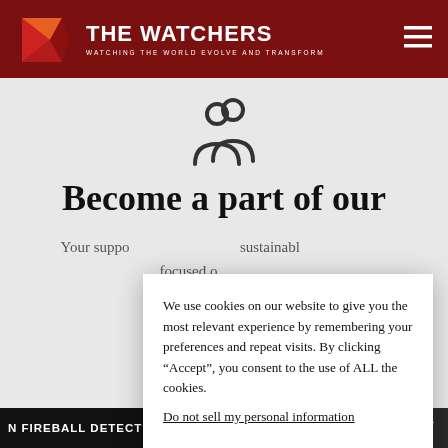THE WATCHERS — WATCHING THE WORLD EVOLVE AND TRANSFORM
[Figure (illustration): Group of people icon (two overlapping person silhouettes) in dark gray outline style]
Become a part of our
Your suppo... sustainabl... focused o...
We use cookies on our website to give you the most relevant experience by remembering your preferences and repeat visits. By clicking “Accept”, you consent to the use of ALL the cookies.
Do not sell my personal information.
Cookie settings | Accept
N FIREBALL DETECTED ON SUNDAY, AUGUST 21, 2022 AT 16: